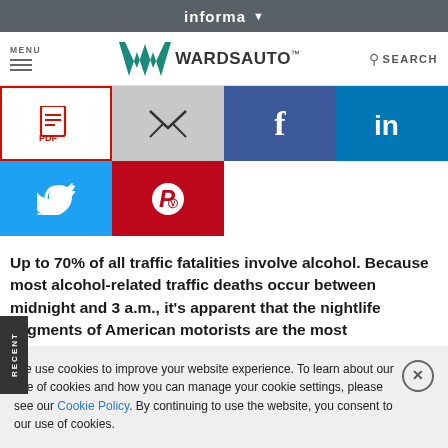informa
MENU | WardsAuto | SEARCH
[Figure (screenshot): Social sharing buttons: PDF (red border), Email (gray), Facebook (blue), LinkedIn (blue), Twitter (blue), Pinterest (red)]
Up to 70% of all traffic fatalities involve alcohol. Because most alcohol-related traffic deaths occur between midnight and 3 a.m., it's apparent that the nightlife segments of American motorists are the most treacherous.
We use cookies to improve your website experience. To learn about our use of cookies and how you can manage your cookie settings, please see our Cookie Policy. By continuing to use the website, you consent to our use of cookies.